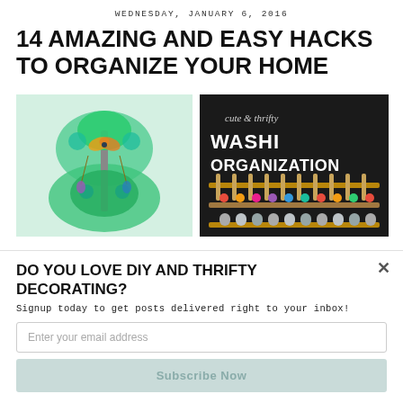WEDNESDAY, JANUARY 6, 2016
14 AMAZING AND EASY HACKS TO ORGANIZE YOUR HOME
[Figure (photo): Green jewelry organizer with hanging earrings and decorative butterfly accents on a light background]
[Figure (photo): Cute & thrifty Washi Organization - wooden peg board with colorful washi tape rolls on dark background]
DO YOU LOVE DIY AND THRIFTY DECORATING?
Signup today to get posts delivered right to your inbox!
Enter your email address
Subscribe Now